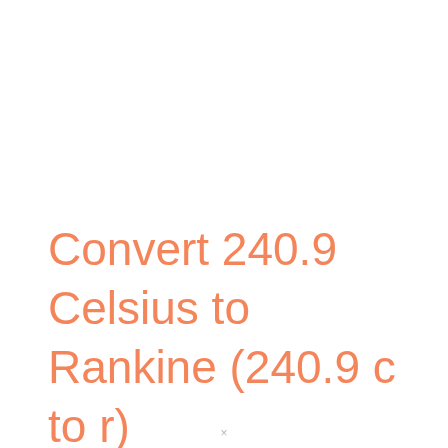Convert 240.9 Celsius to Rankine (240.9 c to r)